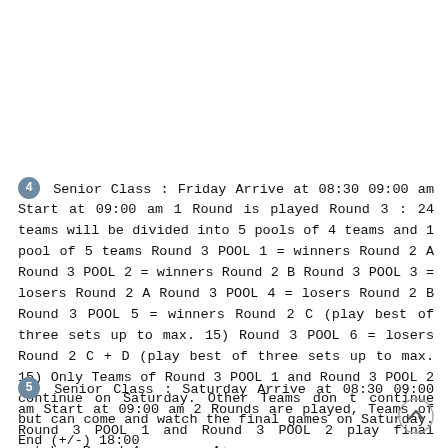4 Senior Class : Friday Arrive at 08:30 09:00 am Start at 09:00 am 1 Round is played Round 3 : 24 teams will be divided into 5 pools of 4 teams and 1 pool of 5 teams Round 3 POOL 1 = winners Round 2 A Round 3 POOL 2 = winners Round 2 B Round 3 POOL 3 = losers Round 2 A Round 3 POOL 4 = losers Round 2 B Round 3 POOL 5 = winners Round 2 C (play best of three sets up to max. 15) Round 3 POOL 6 = losers Round 2 C + D (play best of three sets up to max. 15) Only Teams of Round 3 POOL 1 and Round 3 POOL 2 continue on Saturday. Other Teams don t continue but can come and watch the final games on Saturday. End (+/-) 18:00
5 Senior Class : Saturday Arrive at 08:30 09:00 am Start at 09:00 am 2 Rounds are played, Teams of Round 3 POOL 1 and Round 3 POOL 2 play final matches Round 4 : cross A+